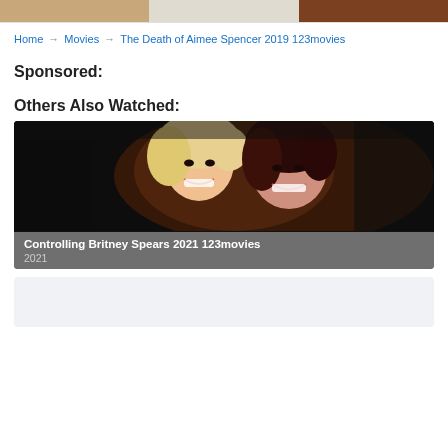[Figure (photo): Three small thumbnail images at the top of the page in a row]
Home → Movies → The Death of Aimee Spencer 2019 123movies
Sponsored:
Others Also Watched:
[Figure (photo): Movie card for Controlling Britney Spears 2021 123movies showing two women smiling together, one blonde and one brunette]
Controlling Britney Spears 2021 123movies
2021
[Figure (photo): Second movie card placeholder with light gray background]